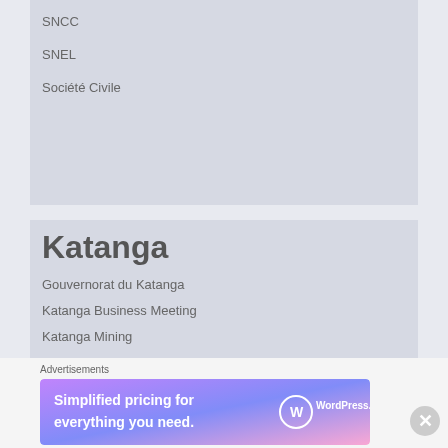SNCC
SNEL
Société Civile
Katanga
Gouvernorat du Katanga
Katanga Business Meeting
Katanga Mining
Katanga Mining Week
Katanga Tourisme
Nyota TV
Radi Okapi
Advertisements
[Figure (other): WordPress.com advertisement banner: Simplified pricing for everything you need.]